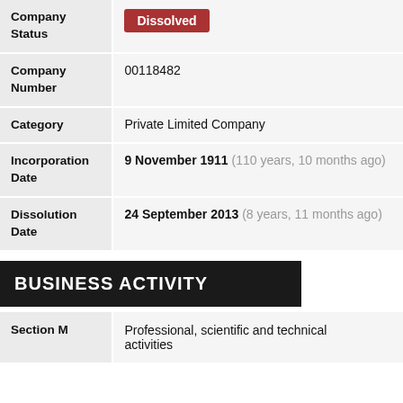| Field | Value |
| --- | --- |
| Company Status | Dissolved |
| Company Number | 00118482 |
| Category | Private Limited Company |
| Incorporation Date | 9 November 1911 (110 years, 10 months ago) |
| Dissolution Date | 24 September 2013 (8 years, 11 months ago) |
BUSINESS ACTIVITY
| Field | Value |
| --- | --- |
| Section M | Professional, scientific and technical activities |